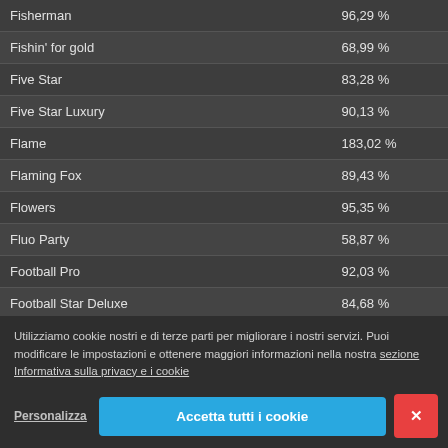| Game | RTP |
| --- | --- |
| Fisherman | 96,29 % |
| Fishin' for gold | 68,99 % |
| Five Star | 83,28 % |
| Five Star Luxury | 90,13 % |
| Flame | 183,02 % |
| Flaming Fox | 89,43 % |
| Flowers | 95,35 % |
| Fluo Party | 58,87 % |
| Football Pro | 92,03 % |
| Football Star Deluxe | 84,68 % |
| Football: Champions Cup | 93,37 % |
| Forbidden Throne | 111,03 % |
Utilizziamo cookie nostri e di terze parti per migliorare i nostri servizi. Puoi modificare le impostazioni e ottenere maggiori informazioni nella nostra sezione Informativa sulla privacy e i cookie
Personalizza
Accetta tutti i cookie